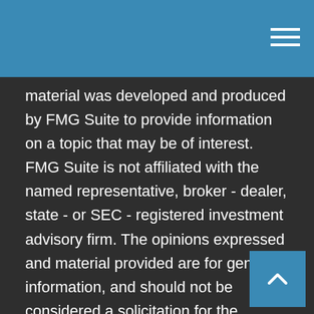material was developed and produced by FMG Suite to provide information on a topic that may be of interest. FMG Suite is not affiliated with the named representative, broker - dealer, state - or SEC - registered investment advisory firm. The opinions expressed and material provided are for general information, and should not be considered a solicitation for the purchase or sale of any security.